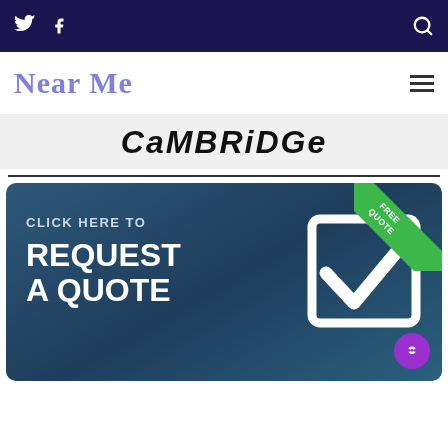Twitter | Facebook | Search
Near Me
CAMBRIDGE
[Figure (infographic): Blue banner ad with text 'CLICK HERE TO REQUEST A QUOTE' and a large white checkbox icon on the right, green FREE QUOTE ribbon in top-right corner, and purple chat bubble in bottom-right.]